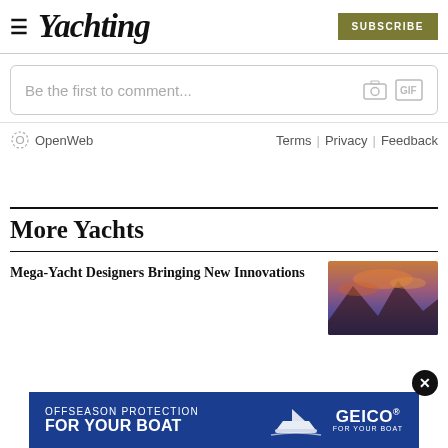Yachting — SUBSCRIBE
Be the first to comment...
OpenWeb  Terms | Privacy | Feedback
More Yachts
Mega-Yacht Designers Bringing New Innovations
[Figure (photo): Mountain landscape photo with orange-lit clouds at sunset]
[Figure (infographic): GEICO ad banner: OFFSEASON PROTECTION FOR YOUR BOAT with boat illustration and GEICO FOR YOUR BOAT logo]